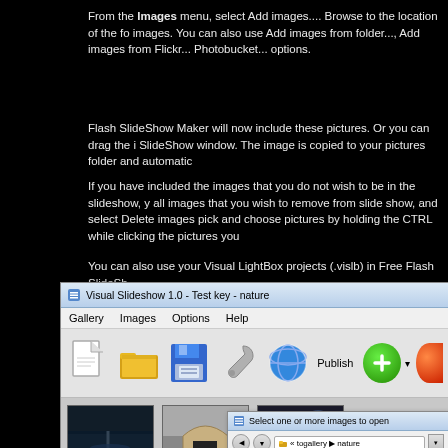From the Images menu, select Add images.... Browse to the location of the fo images. You can also use Add images from folder..., Add images from Flickr... Photobucket... options.
Flash SlideShow Maker will now include these pictures. Or you can drag the i SlideShow window. The image is copied to your pictures folder and automatic
If you have included the images that you do not wish to be in the slideshow, y all images that you wish to remove from slide show, and select Delete images pick and choose pictures by holding the CTRL while clicking the pictures you
You can also use your Visual LightBox projects (.vislb) in Free Flash SlideSh
[Figure (screenshot): Screenshot of Visual Slideshow 1.0 application window with title bar, menu bar (Gallery, Images, Options, Help), toolbar with icons (new, open folder, save, wrench, globe/Publish, green plus button), content area showing photo thumbnails, and an open file dialog 'Select one or more images to open' showing navigation to togallery > nature folder.]